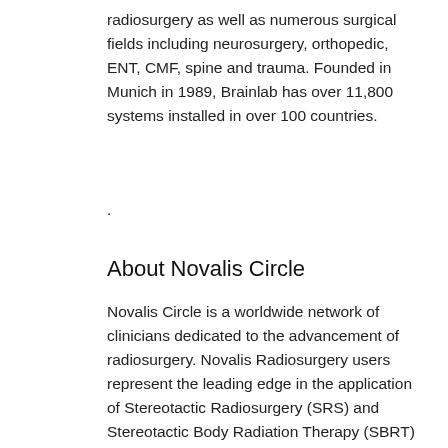radiosurgery as well as numerous surgical fields including neurosurgery, orthopedic, ENT, CMF, spine and trauma. Founded in Munich in 1989, Brainlab has over 11,800 systems installed in over 100 countries.
.
About Novalis Circle
Novalis Circle is a worldwide network of clinicians dedicated to the advancement of radiosurgery. Novalis Radiosurgery users represent the leading edge in the application of Stereotactic Radiosurgery (SRS) and Stereotactic Body Radiation Therapy (SBRT) and their participation in the Novalis Circle community indicates their strong commitment to improving healthcare. Novalis Circle